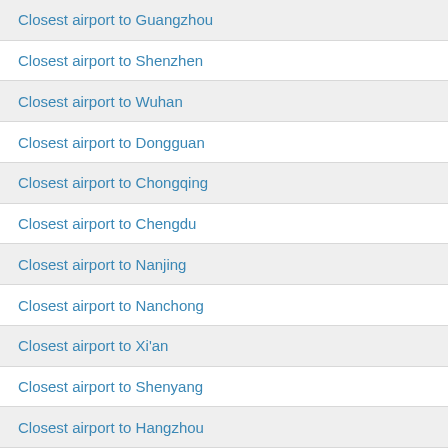Closest airport to Guangzhou
Closest airport to Shenzhen
Closest airport to Wuhan
Closest airport to Dongguan
Closest airport to Chongqing
Closest airport to Chengdu
Closest airport to Nanjing
Closest airport to Nanchong
Closest airport to Xi'an
Closest airport to Shenyang
Closest airport to Hangzhou